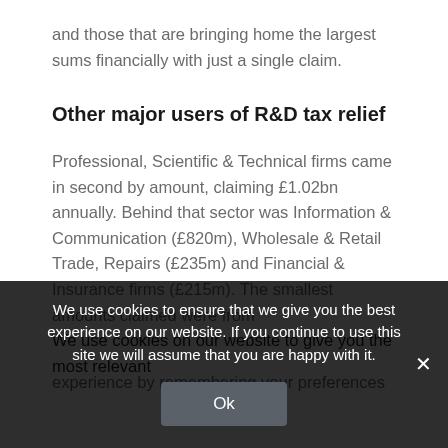and those that are bringing home the largest sums financially with just a single claim.
Other major users of R&D tax relief
Professional, Scientific & Technical firms came in second by amount, claiming £1.02bn annually. Behind that sector was Information & Communication (£820m), Wholesale & Retail Trade, Repairs (£235m) and Financial & Insurance firms (£215m). The smallest amounts claimed were from
We use cookies on our website to give you the most relevant experience by remembering your preferences and repeat
We use cookies to ensure that we give you the best experience on our website. If you continue to use this site we will assume that you are happy with it.